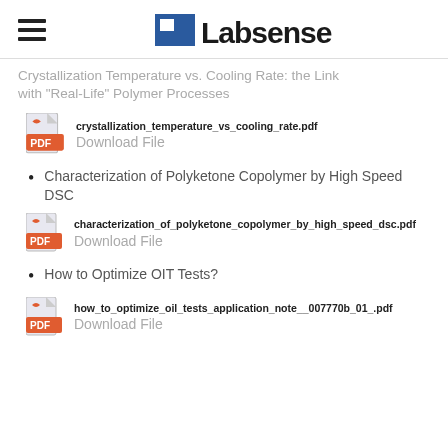Labsense
Crystallization Temperature vs. Cooling Rate: the Link with "Real-Life" Polymer Processes
crystallization_temperature_vs_cooling_rate.pdf
Download File
Characterization of Polyketone Copolymer by High Speed DSC
characterization_of_polyketone_copolymer_by_high_speed_dsc.pdf
Download File
How to Optimize OIT Tests?
how_to_optimize_oil_tests_application_note__007770b_01_.pdf
Download File